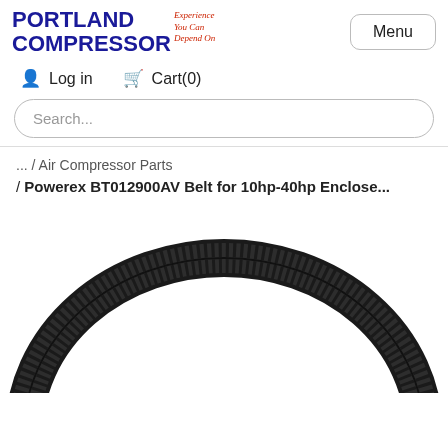[Figure (logo): Portland Compressor logo with blue bold text and red italic tagline 'Experience You Can Depend On']
Menu
Log in
Cart(0)
Search...
... / Air Compressor Parts
/ Powerex BT012900AV Belt for 10hp-40hp Enclose...
[Figure (photo): Photo of a black v-belt / drive belt (Powerex BT012900AV), shown as a large circular loop against white background, partially cropped at bottom]